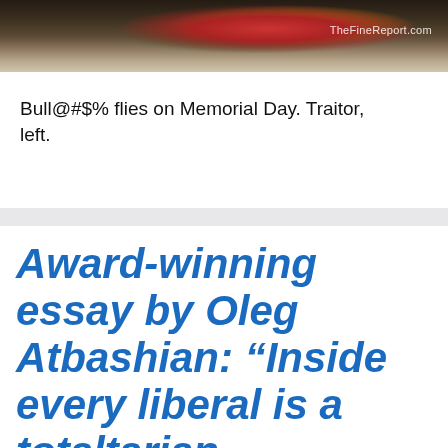[Figure (photo): Partial photo of people at what appears to be a Memorial Day ceremony, with flowers visible. Watermark reads 'TheFineReport.com']
Bull@#$% flies on Memorial Day. Traitor, left.
Award-winning essay by Oleg Atbashian: “Inside every liberal is a totaltarian screaming to get out”